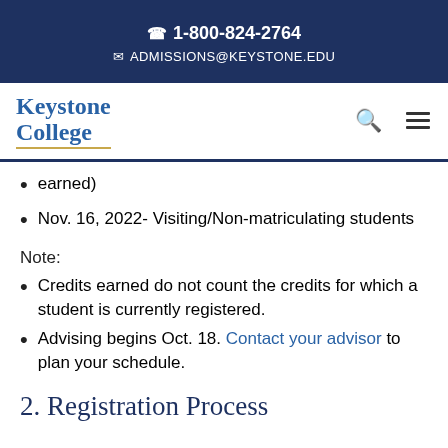1-800-824-2764
ADMISSIONS@KEYSTONE.EDU
[Figure (logo): Keystone College logo with search and hamburger menu icons]
earned)
Nov. 16, 2022- Visiting/Non-matriculating students
Note:
Credits earned do not count the credits for which a student is currently registered.
Advising begins Oct. 18. Contact your advisor to plan your schedule.
2. Registration Process